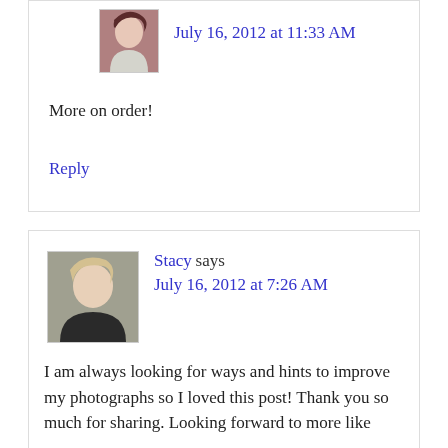[Figure (photo): Avatar photo of commenter, female with dark hair]
July 16, 2012 at 11:33 AM
More on order!
Reply
[Figure (photo): Avatar photo of Stacy, woman with blonde hair]
Stacy says
July 16, 2012 at 7:26 AM
I am always looking for ways and hints to improve my photographs so I loved this post! Thank you so much for sharing. Looking forward to more like